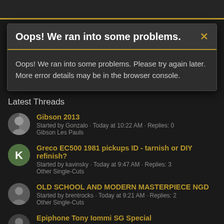[Figure (screenshot): Error modal dialog with dark background reading: Oops! We ran into some problems. Please try again later. More error details may be in the browser console.]
Latest Threads
Gibson 2013 · Started by Gonzalo · Today at 10:22 AM · Replies: 0 · Gibson Les Pauls
Greco EC500 1981 pickups ID - tarnish or DIY refinish? · Started by kavinsky · Today at 9:47 AM · Replies: 3 · Other Single-Cuts
OLD SCHOOL AND MODERN MASTERPIECE NGD · Started by brentrocks · Today at 9:21 AM · Replies: 2 · Other Single-Cuts
Epiphone Tony Iommi SG Special · Started by Deviljho · Today at 2:12 AM · Replies: 1 · Other Epiphones
Mojotone Vibro Champ high pitched noise